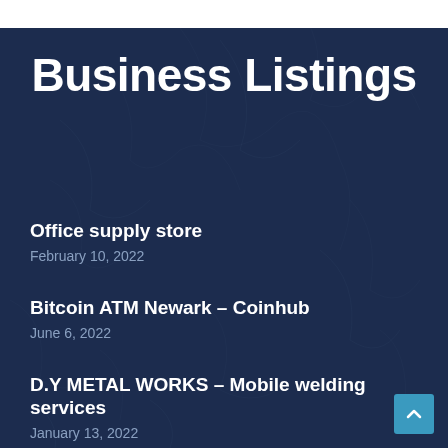Business Listings
Office supply store
February 10, 2022
Bitcoin ATM Newark – Coinhub
June 6, 2022
D.Y METAL WORKS – Mobile welding services
January 13, 2022